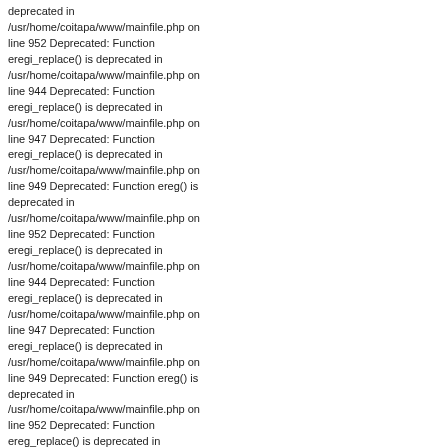deprecated in /usr/home/coitapa/www/mainfile.php on line 952 Deprecated: Function eregi_replace() is deprecated in /usr/home/coitapa/www/mainfile.php on line 944 Deprecated: Function eregi_replace() is deprecated in /usr/home/coitapa/www/mainfile.php on line 947 Deprecated: Function eregi_replace() is deprecated in /usr/home/coitapa/www/mainfile.php on line 949 Deprecated: Function ereg() is deprecated in /usr/home/coitapa/www/mainfile.php on line 952 Deprecated: Function eregi_replace() is deprecated in /usr/home/coitapa/www/mainfile.php on line 944 Deprecated: Function eregi_replace() is deprecated in /usr/home/coitapa/www/mainfile.php on line 947 Deprecated: Function eregi_replace() is deprecated in /usr/home/coitapa/www/mainfile.php on line 949 Deprecated: Function ereg() is deprecated in /usr/home/coitapa/www/mainfile.php on line 952 Deprecated: Function ereg_replace() is deprecated in /usr/home/coitapa/www/blocks/block-Modules.php on line 60 Deprecated: Function eregi_replace() is deprecated in /usr/home/coitapa/www/mainfile.php on line 944 Deprecated: Function eregi_replace() is deprecated in /usr/home/coitapa/www/mainfile.php on line 947 Deprecated: Function eregi_replace() is deprecated in /usr/home/coitapa/www/mainfile.php on line 949 Deprecated: Function ereg() is deprecated in /usr/home/coitapa/www/mainfile.php on